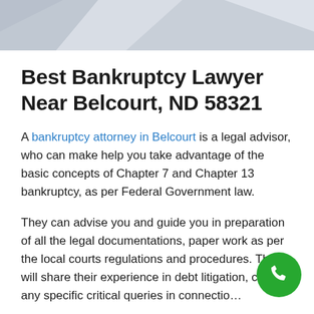[Figure (illustration): Light gray decorative banner header with geometric triangle shapes in varying shades of gray]
Best Bankruptcy Lawyer Near Belcourt, ND 58321
A bankruptcy attorney in Belcourt is a legal advisor, who can make help you take advantage of the basic concepts of Chapter 7 and Chapter 13 bankruptcy, as per Federal Government law.
They can advise you and guide you in preparation of all the legal documentations, paper work as per the local courts regulations and procedures. They will share their experience in debt litigation, clarify any specific critical queries in connection with the process of settling out for you, along